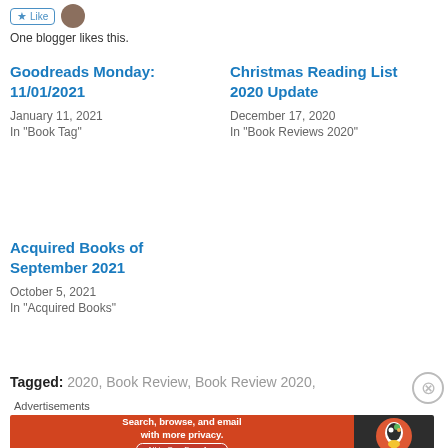One blogger likes this.
Goodreads Monday: 11/01/2021
January 11, 2021
In "Book Tag"
Christmas Reading List 2020 Update
December 17, 2020
In "Book Reviews 2020"
Acquired Books of September 2021
October 5, 2021
In "Acquired Books"
Tagged: 2020, Book Review, Book Review 2020,
Advertisements
[Figure (screenshot): DuckDuckGo advertisement banner: orange left side with text 'Search, browse, and email with more privacy. All in One Free App', dark right side with DuckDuckGo logo]